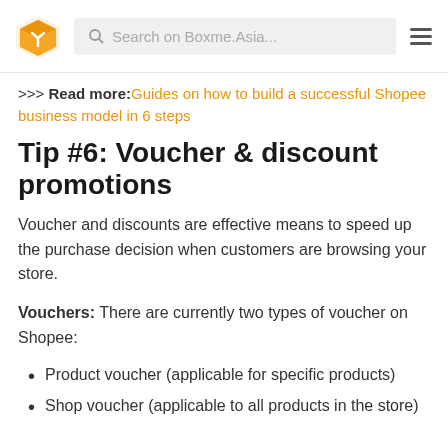Boxme.Asia header with logo and search bar
>>> Read more: Guides on how to build a successful Shopee business model in 6 steps
Tip #6: Voucher & discount promotions
Voucher and discounts are effective means to speed up the purchase decision when customers are browsing your store.
Vouchers: There are currently two types of voucher on Shopee:
Product voucher (applicable for specific products)
Shop voucher (applicable to all products in the store)